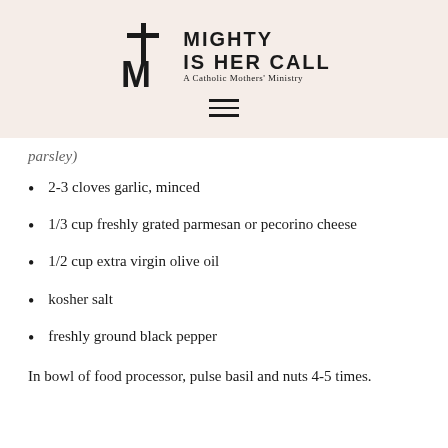[Figure (logo): Mighty Is Her Call logo with cross and M letterform, subtitle 'A Catholic Mothers' Ministry', and hamburger menu icon]
parsley)
2-3 cloves garlic, minced
1/3 cup freshly grated parmesan or pecorino cheese
1/2 cup extra virgin olive oil
kosher salt
freshly ground black pepper
In bowl of food processor, pulse basil and nuts 4-5 times.